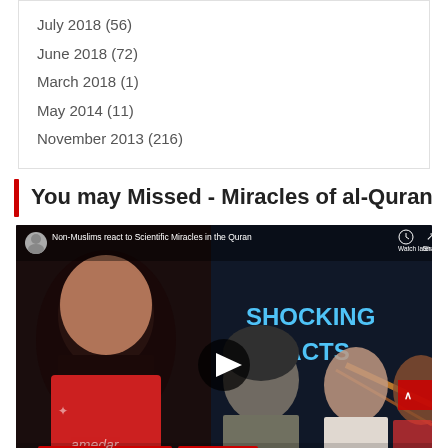July 2018 (56)
June 2018 (72)
March 2018 (1)
May 2014 (11)
November 2013 (216)
You may Missed - Miracles of al-Quran
[Figure (screenshot): YouTube video thumbnail for 'Non-Muslims react to Scientific Miracles in the Quran' showing several people including a young girl with long hair, an elderly man, a young Asian woman, and another person. The video shows SHOCKING FACTS text in blue. At the bottom are red tags: AL-QURAN, MIRACLES, PUBLIC REACT.]